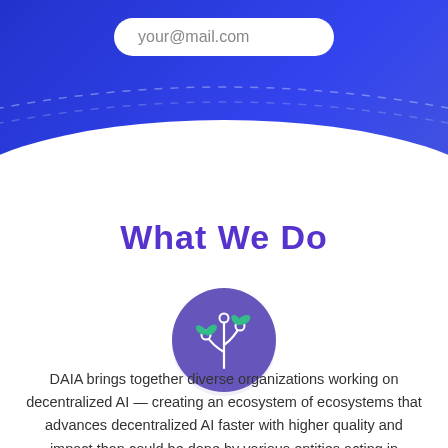your@mail.com
[Figure (illustration): Purple circle icon with a stylized plant/circuit board graphic featuring white lines, circles, and green leaves]
What We Do
DAIA brings together diverse organizations working on decentralized AI — creating an ecosystem of ecosystems that advances decentralized AI faster with higher quality and impact than could be done by various entities acting in relative isolation.